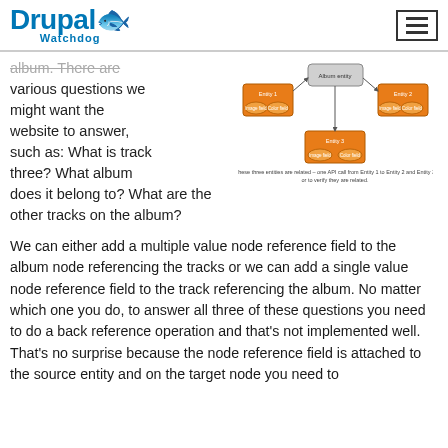Drupal Watchdog
album. There are various questions we might want the website to answer, such as: What is track three? What album does it belong to? What are the other tracks on the album?
[Figure (schematic): Diagram showing entity relationships between Entity 1 and Entity 2 with related nodes, connected via API calls. Caption: These three entities are related – one API call from Entity 1 to Entity 2 and Entity 3 or to verify they are related.]
We can either add a multiple value node reference field to the album node referencing the tracks or we can add a single value node reference field to the track referencing the album. No matter which one you do, to answer all three of these questions you need to do a back reference operation and that's not implemented well. That's no surprise because the node reference field is attached to the source entity and on the target node you need to